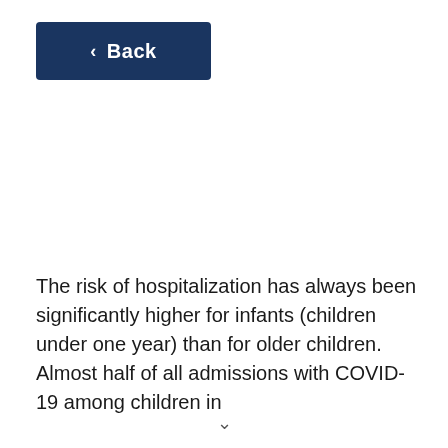[Figure (other): Dark navy blue Back button with left-pointing chevron arrow and the text 'Back']
The risk of hospitalization has always been significantly higher for infants (children under one year) than for older children. Almost half of all admissions with COVID-19 among children in